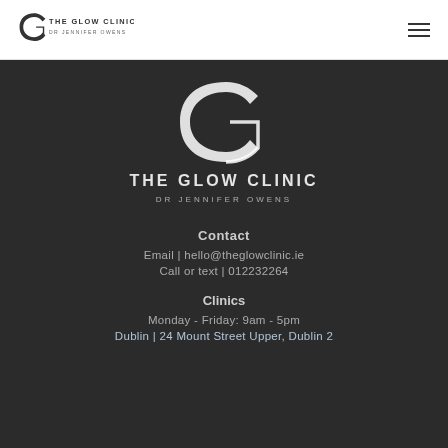[Figure (logo): The Glow Clinic — Dr Jennifer Owens logo in header (small, dark text)]
[Figure (logo): The Glow Clinic — Dr Jennifer Owens large centered white logo on dark background]
Contact
Email | hello@theglowclinic.ie
Call or text | 012232264
Clinics
Monday - Friday: 9am - 5pm
Dublin | 24 Mount Street Upper, Dublin 2